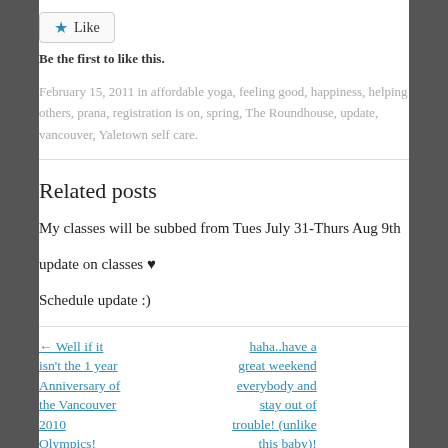Like
Be the first to like this.
February 15, 2011 in affordable yoga, feeling good, happiness, helping others, prana, registration is on, spring, The Roundhouse, update, vancouver, Yaletown self care.
Related posts
My classes will be subbed from Tues July 31-Thurs Aug 9th
update on classes ♥
Schedule update :)
← Well if it isn't the 1 year Anniversary of the Vancouver 2010 Olympics!
haha..have a great weekend everybody and stay out of trouble! (unlike this baby)!